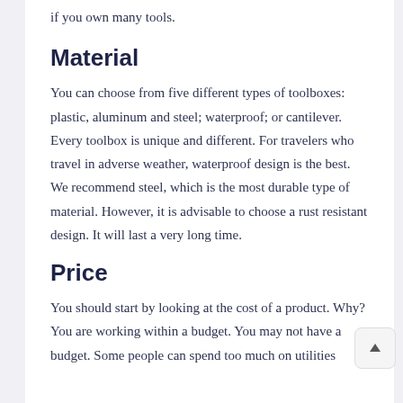if you own many tools.
Material
You can choose from five different types of toolboxes: plastic, aluminum and steel; waterproof; or cantilever. Every toolbox is unique and different. For travelers who travel in adverse weather, waterproof design is the best. We recommend steel, which is the most durable type of material. However, it is advisable to choose a rust resistant design. It will last a very long time.
Price
You should start by looking at the cost of a product. Why? You are working within a budget. You may not have a budget. Some people can spend too much on utilities